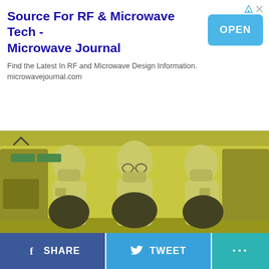[Figure (screenshot): Advertisement banner for Microwave Journal: title 'Source For RF & Microwave Tech - Microwave Journal', subtitle 'Find the Latest In RF and Microwave Design Information. microwavejournal.com', with an OPEN button on the right.]
[Figure (photo): Three workers in white cleanroom suits and masks holding large dark silicon wafers in a semiconductor fabrication facility with yellow-tinted lighting.]
SHARE
TWEET
...